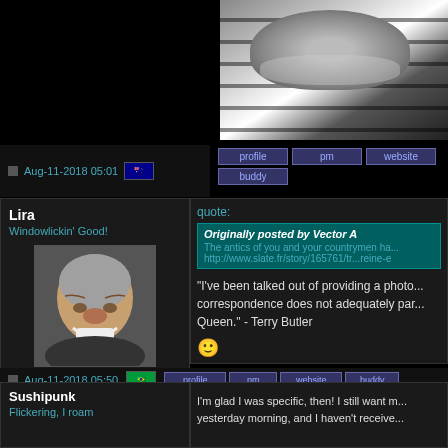[Figure (photo): Black and white partial face photo, upper right portion of page]
Aug-11-2018 05:01
[Figure (illustration): Australian flag icon]
profile  pm  website  buddy (buttons)
Lira
Windowlickin' Good!
[Figure (photo): Avatar photo of elderly man with exaggerated grin]
Registered: Nov 2001
Location: Seoul, South Korea
Originally from: Brasilia, Brazil
quote:
Originally posted by Vector A
The antics of you and your countrymen ha...
http://www.slate.fr/story/165761/tr...reine-e
"I've been talked out of providing a photo... correspondence does not adequately par... Queen." - Terry Butler
J'aime faire des croquettes au chicke...
Aug-11-2018 05:50
[Figure (illustration): Brazilian flag icon]
profile  pm  website  buddy (buttons)
Sushipunk
Flickering, I roam
I'm glad I was specific, then! I still want m... yesterday morning, and I haven't receive...